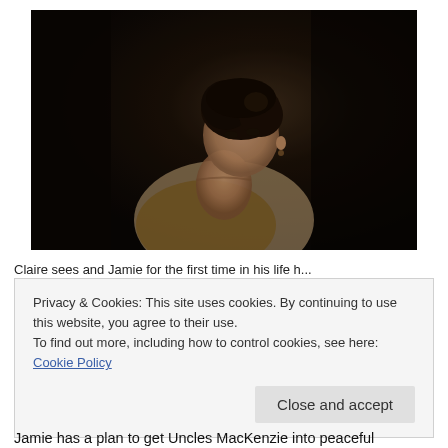[Figure (photo): A woman with dark curly hair wearing period costume (light dress with dark shawl/fur), shot in low-key cinematic lighting against a dark background. Still from a TV show.]
Claire sees and Jamie for the first time in his life h...
Privacy & Cookies: This site uses cookies. By continuing to use this website, you agree to their use.
To find out more, including how to control cookies, see here: Cookie Policy
Close and accept
Jamie has a plan to get Uncles MacKenzie into peaceful